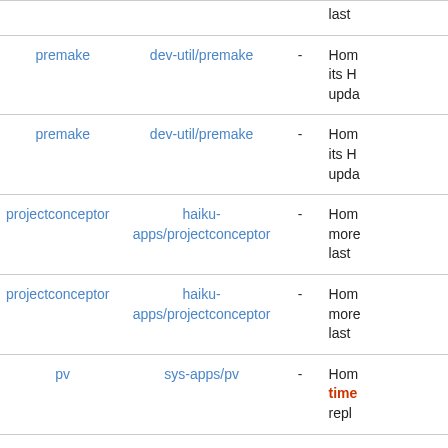| Package | Category |  | Description |
| --- | --- | --- | --- |
| premake | dev-util/premake | - | Hom its H upda |
| premake | dev-util/premake | - | Hom its H upda |
| projectconceptor | haiku-apps/projectconceptor | - | Hom more last |
| projectconceptor | haiku-apps/projectconceptor | - | Hom more last |
| pv | sys-apps/pv | - | Hom time repl |
| python:enum34 | dev-python/enum34 | - | Hom |